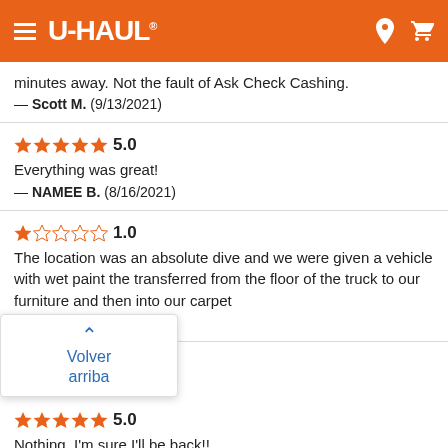U-HAUL
minutes away. Not the fault of Ask Check Cashing.
— Scott M.  (9/13/2021)
5.0
Everything was great!
— NAMEE B.  (8/16/2021)
1.0
The location was an absolute dive and we were given a vehicle with wet paint the transferred from the floor of the truck to our furniture and then into our carpet
— Steven E.  (6/28/2021)
5.0
Nothing. I'm sure I'll be back!!
— Heather O.  (6/17/2021)
Volver arriba